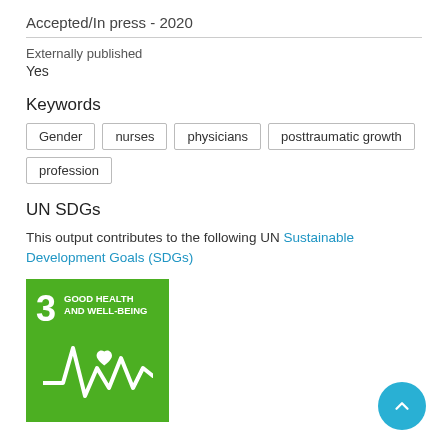Accepted/In press - 2020
Externally published
Yes
Keywords
Gender
nurses
physicians
posttraumatic growth
profession
UN SDGs
This output contributes to the following UN Sustainable Development Goals (SDGs)
[Figure (logo): UN SDG 3 - Good Health and Well-Being badge, green background with white heartbeat/health icon and number 3]